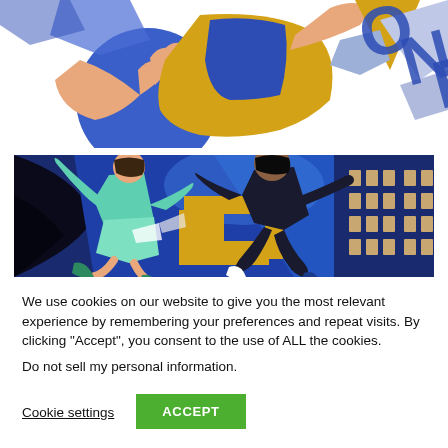[Figure (illustration): Colorful flat-style illustration showing a person in yellow and blue sportswear holding a blue circle/ball, with abstract geometric shapes and the letters 'ONE' visible on the right side. Blue, gold, peach, and lavender colors on white background.]
[Figure (illustration): Horizontal banner illustration with two figures in a dynamic geometric composition. Left figure in teal/mint outfit running, right figure in dark outfit leaping, set against a deep blue abstract cityscape background with gold geometric shapes and building windows on the right.]
We use cookies on our website to give you the most relevant experience by remembering your preferences and repeat visits. By clicking “Accept”, you consent to the use of ALL the cookies.
Do not sell my personal information.
Cookie settings
ACCEPT